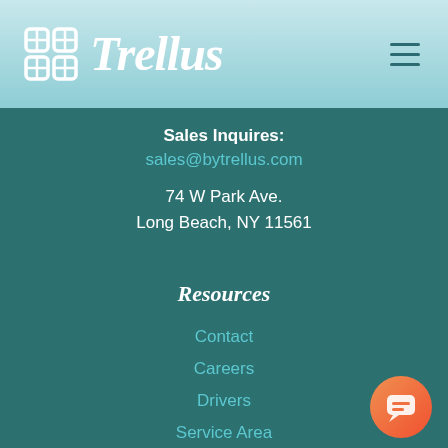Trellus
Sales Inquires:
sales@bytrellus.com
74 W Park Ave.
Long Beach, NY 11561
Resources
Contact
Careers
Drivers
Service Area
Terms & Conditions
Privacy Policy